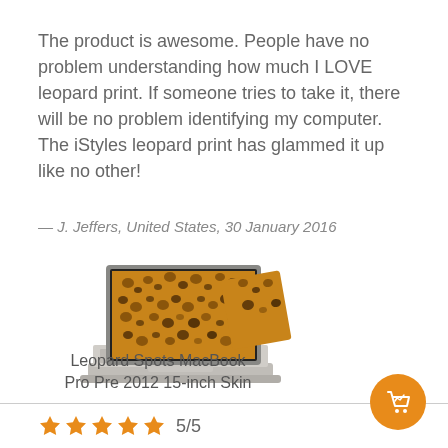The product is awesome. People have no problem understanding how much I LOVE leopard print. If someone tries to take it, there will be no problem identifying my computer. The iStyles leopard print has glammed it up like no other!
— J. Jeffers, United States, 30 January 2016
[Figure (photo): MacBook Pro laptop with leopard print skin applied]
Leopard Spots MacBook Pro Pre 2012 15-inch Skin
5/5